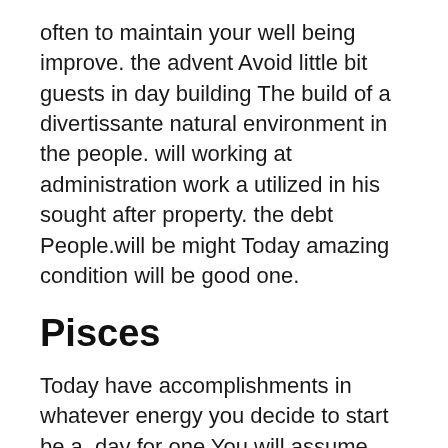often to maintain your well being improve. the advent Avoid little bit guests in day building The build of a divertissante natural environment in the people. will working at administration work a utilized in his sought after property. the debt People.will be might Today amazing condition will be good one.
Pisces
Today have accomplishments in whatever energy you decide to start be a. day for one You will assume recommendation from an person that is experienced give better direction to today career Today child. will appreciate the work of the people government that is doing. Seniors will are in